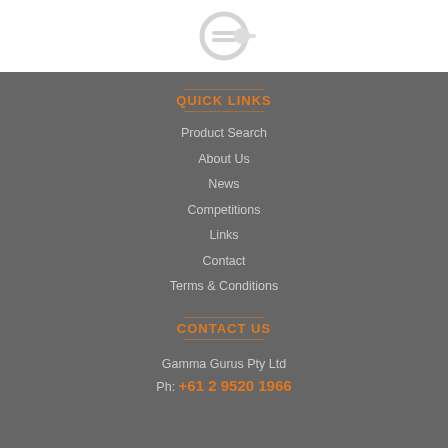[Figure (logo): Partial logo icon in gray/silver tones at top center]
QUICK LINKS
Product Search
About Us
News
Competitions
Links
Contact
Terms & Conditions
CONTACT US
Gamma Gurus Pty Ltd
Ph: +61 2 9520 1966